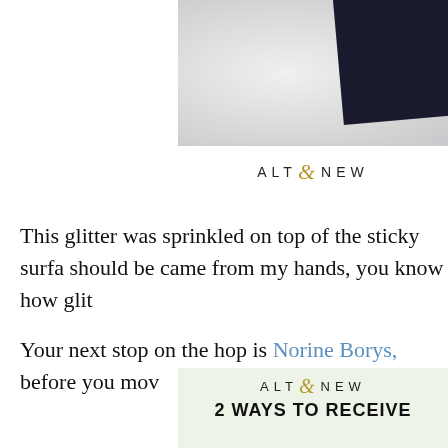[Figure (photo): Photo showing dark card/envelope on marble/white surface, partially cropped on right side]
[Figure (logo): Altenew logo with stylized ampersand in gold]
This glitter was sprinkled on top of the sticky surfa should be came from my hands, you know how glit
Your next stop on the hop is Norine Borys, before you mov
[Figure (logo): Altenew logo on green/sage background with text '2 WAYS TO RECEIVE']